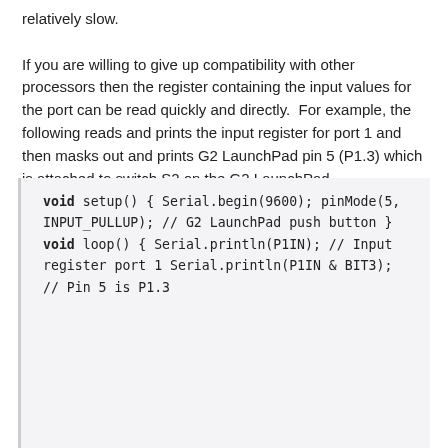relatively slow.

If you are willing to give up compatibility with other processors then the register containing the input values for the port can be read quickly and directly.  For example, the following reads and prints the input register for port 1 and then masks out and prints G2 LaunchPad pin 5 (P1.3) which is attached to switch S2 on the G2 LaunchPad.
void setup()
{
  Serial.begin(9600);
  pinMode(5, INPUT_PULLUP);        // G2 LaunchPad push button
}


void loop()
{
  Serial.println(P1IN);           // Input register port 1
  Serial.println(P1IN & BIT3);    // Pin 5 is P1.3